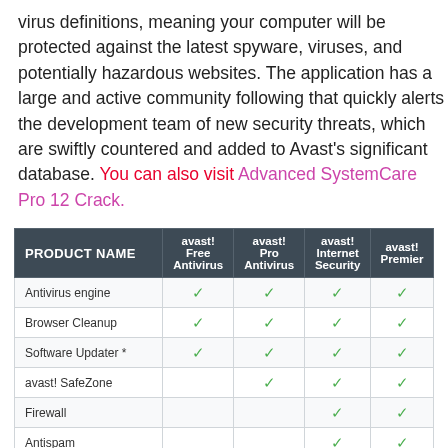virus definitions, meaning your computer will be protected against the latest spyware, viruses, and potentially hazardous websites. The application has a large and active community following that quickly alerts the development team of new security threats, which are swiftly countered and added to Avast's significant database. You can also visit Advanced SystemCare Pro 12 Crack.
| PRODUCT NAME | avast! Free Antivirus | avast! Pro Antivirus | avast! Internet Security | avast! Premier |
| --- | --- | --- | --- | --- |
| Antivirus engine | ✓ | ✓ | ✓ | ✓ |
| Browser Cleanup | ✓ | ✓ | ✓ | ✓ |
| Software Updater * | ✓ | ✓ | ✓ | ✓ |
| avast! SafeZone |  | ✓ | ✓ | ✓ |
| Firewall |  |  | ✓ | ✓ |
| Antispam |  |  | ✓ | ✓ |
| AccessAnywhere |  |  |  | ✓ |